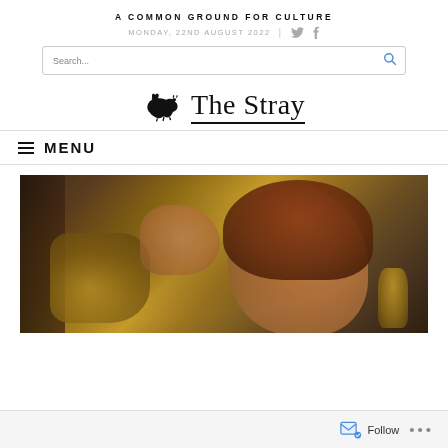A COMMON GROUND FOR CULTURE
MONDAY, 22ND AUGUST 2022
Search...
The Stray
MENU
[Figure (photo): Close-up photo of a red-haired woman holding a chess piece, with chess pieces in the foreground, warm dark tones]
Follow